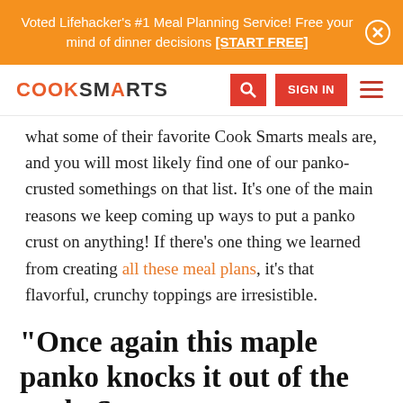Voted Lifehacker's #1 Meal Planning Service! Free your mind of dinner decisions [START FREE]
[Figure (logo): Cook Smarts logo with navigation bar including search icon, SIGN IN button, and hamburger menu]
what some of their favorite Cook Smarts meals are, and you will most likely find one of our panko-crusted somethings on that list. It’s one of the main reasons we keep coming up ways to put a panko crust on anything! If there’s one thing we learned from creating all these meal plans, it’s that flavorful, crunchy toppings are irresistible.
“Once again this maple panko knocks it out of the park. So